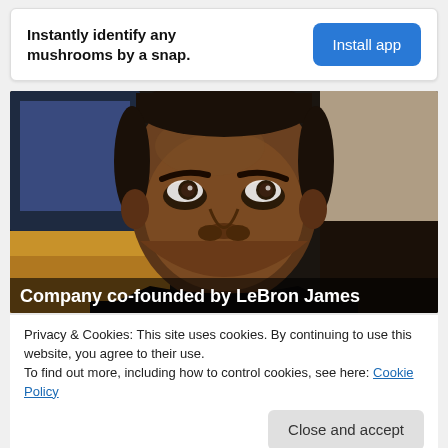Instantly identify any mushrooms by a snap.
Install app
[Figure (photo): Close-up photo of LeBron James looking upward with a serious expression, seated in what appears to be an arena]
Company co-founded by LeBron James
Privacy & Cookies: This site uses cookies. By continuing to use this website, you agree to their use.
To find out more, including how to control cookies, see here: Cookie Policy
Close and accept